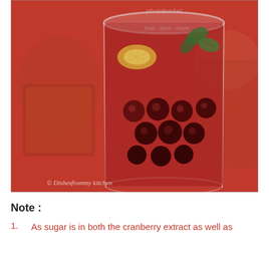[Figure (photo): A glass of cranberry drink with whole cranberries floating inside, garnished with a lemon slice and mint leaves. Red cranberry background. Watermark reads photobucket and Dishesfrommy kitchen.]
Note :
As sugar is in both the cranberry extract as well as